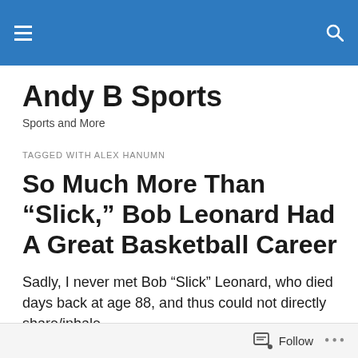Andy B Sports
Andy B Sports
Sports and More
TAGGED WITH ALEX HANUMN
So Much More Than “Slick,” Bob Leonard Had A Great Basketball Career
Sadly, I never met Bob “Slick” Leonard, who died days back at age 88, and thus could not directly share/inhale
Follow